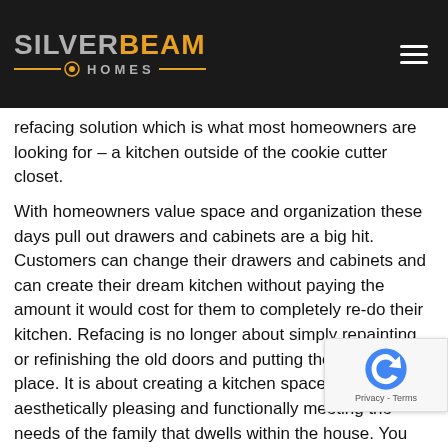[Figure (logo): Silver Beam Homes logo on dark header bar with hamburger menu icon]
refacing solution which is what most homeowners are looking for – a kitchen outside of the cookie cutter closet.
With homeowners value space and organization these days pull out drawers and cabinets are a big hit. Customers can change their drawers and cabinets and can create their dream kitchen without paying the amount it would cost for them to completely re-do their kitchen. Refacing is no longer about simply repainting or refinishing the old doors and putting them back in place. It is about creating a kitchen space that is aesthetically pleasing and functionally meeting the needs of the family that dwells within the house. You can change to soft close hinges, install pot and pan drawers, extend your cabinet boxes, add crown molding and so much more with a modern kitchen refacing.
When you choose your refacing experts they will allow you to